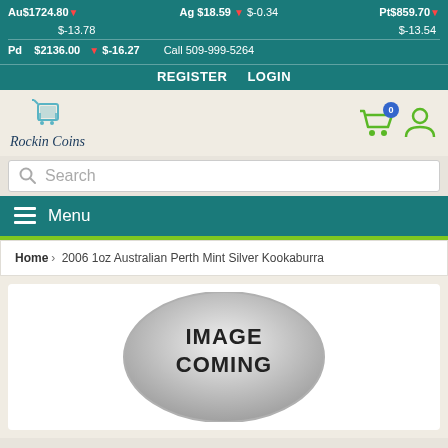Au$1724.80 ▼  Ag $18.59 ▼ $-0.34  Pt$859.70 ▼
$-13.78                                    $-13.54
Pd  $2136.00  ▼ $-16.27    Call 509-999-5264
REGISTER  LOGIN
[Figure (logo): Rockin Coins logo with shopping cart icon and script text]
Search
Menu
Home > 2006 1oz Australian Perth Mint Silver Kookaburra
[Figure (photo): Silver coin placeholder image with text IMAGE COMING]